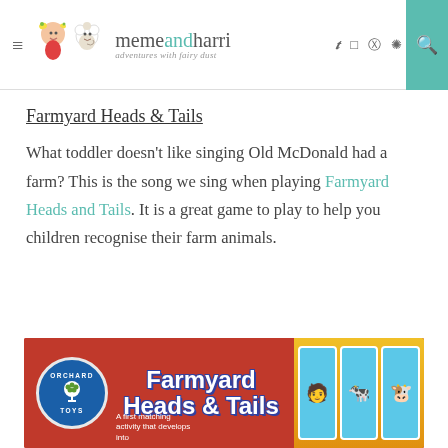memeandharri — adventures with fairy dust
Farmyard Heads & Tails
What toddler doesn't like singing Old McDonald had a farm? This is the song we sing when playing Farmyard Heads and Tails. It is a great game to play to help you children recognise their farm animals.
[Figure (photo): A photo of the Orchard Toys Farmyard Heads & Tails board game box in red, showing the Orchard Toys logo badge in blue and game title in white with game cards visible]